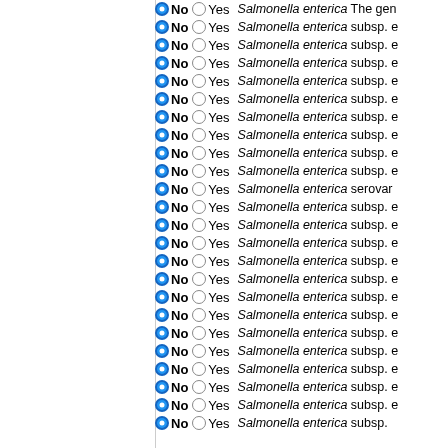No / Yes — Salmonella enterica The gen...
No / Yes — Salmonella enterica subsp. e
No / Yes — Salmonella enterica subsp. e
No / Yes — Salmonella enterica subsp. e
No / Yes — Salmonella enterica subsp. e
No / Yes — Salmonella enterica subsp. e
No / Yes — Salmonella enterica subsp. e
No / Yes — Salmonella enterica subsp. e
No / Yes — Salmonella enterica subsp. e
No / Yes — Salmonella enterica subsp. e
No / Yes — Salmonella enterica serovar
No / Yes — Salmonella enterica subsp. e
No / Yes — Salmonella enterica subsp. e
No / Yes — Salmonella enterica subsp. e
No / Yes — Salmonella enterica subsp. e
No / Yes — Salmonella enterica subsp. e
No / Yes — Salmonella enterica subsp. e
No / Yes — Salmonella enterica subsp. e
No / Yes — Salmonella enterica subsp. e
No / Yes — Salmonella enterica subsp. e
No / Yes — Salmonella enterica subsp. e
No / Yes — Salmonella enterica subsp. e
No / Yes — Salmonella enterica subsp. e
No / Yes — Salmonella enterica subsp.